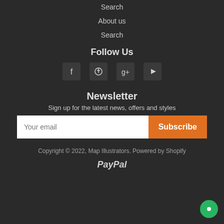Search
About us
Search
Follow Us
[Figure (illustration): Social media icons: Facebook, Pinterest, Google+, YouTube]
Newsletter
Sign up for the latest news, offers and styles
Your email / Subscribe button
Copyright © 2022, Map Illustrators. Powered by Shopify
[Figure (logo): PayPal logo]